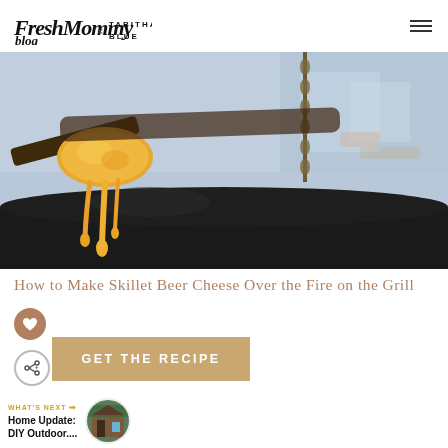Fresh Mommy Blog × TABITHA BLUE
[Figure (photo): Close-up photo of melted cheese being lifted on a spoon over a cast iron skillet, with a chain and outdoor fire setting in the background.]
How to Make Skillet Beer Cheese Over the Fire on the Grill
GET THE RECIPE
WHAT'S NEXT → Home Update: DIY Outdoor....